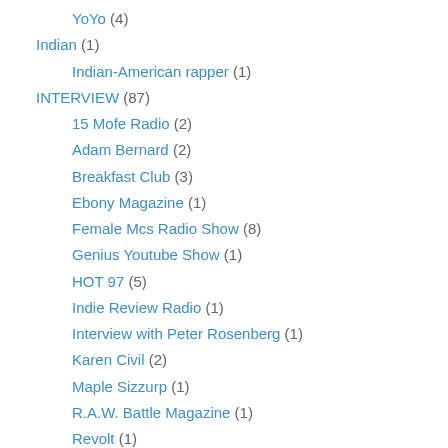YoYo (4)
Indian (1)
Indian-American rapper (1)
INTERVIEW (87)
15 Mofe Radio (2)
Adam Bernard (2)
Breakfast Club (3)
Ebony Magazine (1)
Female Mcs Radio Show (8)
Genius Youtube Show (1)
HOT 97 (5)
Indie Review Radio (1)
Interview with Peter Rosenberg (1)
Karen Civil (2)
Maple Sizzurp (1)
R.A.W. Battle Magazine (1)
Revolt (1)
The Fader Magazine (1)
ThroughtmyiMedia (4)
True Talk Sessions (1)